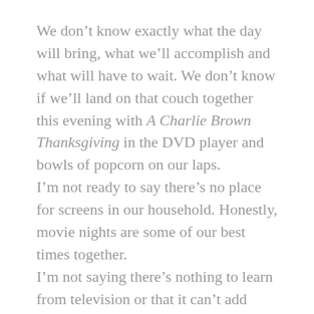We don't know exactly what the day will bring, what we'll accomplish and what will have to wait. We don't know if we'll land on that couch together this evening with A Charlie Brown Thanksgiving in the DVD player and bowls of popcorn on our laps.
I'm not ready to say there's no place for screens in our household. Honestly, movie nights are some of our best times together.
I'm not saying there's nothing to learn from television or that it can't add value to our lives.
I'm just saying there are a whole lot of things that feel right here this morning, from the paper to the sunlight to the perfectly-browned potatoes.